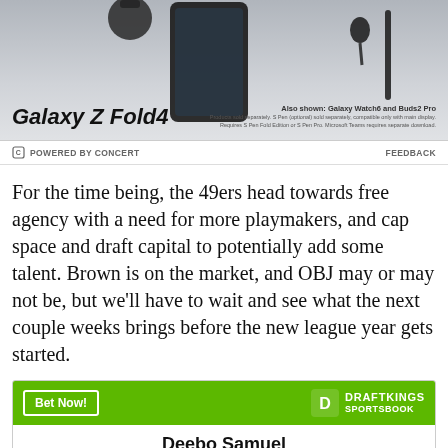[Figure (photo): Samsung Galaxy Z Fold4 advertisement banner showing the device. Text reads 'Galaxy Z Fold4', 'Also shown: Galaxy Watch6 and Buds2 Pro', fine print about products sold separately.]
POWERED BY CONCERT   FEEDBACK
For the time being, the 49ers head towards free agency with a need for more playmakers, and cap space and draft capital to potentially add some talent. Brown is on the market, and OBJ may or may not be, but we'll have to wait and see what the next couple weeks brings before the new league year gets started.
| Deebo Samuel |
| To win MVP | +6000 |